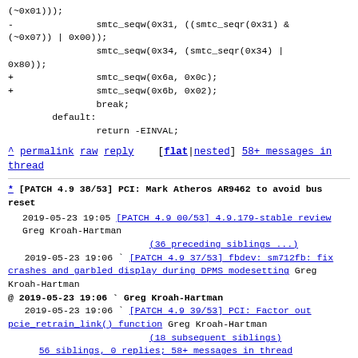(~0x01)));
-               smtc_seqw(0x31, ((smtc_seqr(0x31) & (~0x07)) | 0x00));
                smtc_seqw(0x34, (smtc_seqr(0x34) | 0x80));
+               smtc_seqw(0x6a, 0x0c);
+               smtc_seqw(0x6b, 0x02);
                break;
        default:
                return -EINVAL;
^ permalink raw reply  [flat|nested] 58+ messages in thread
* [PATCH 4.9 38/53] PCI: Mark Atheros AR9462 to avoid bus reset
2019-05-23 19:05 [PATCH 4.9 00/53] 4.9.179-stable review Greg Kroah-Hartman
   (36 preceding siblings ...)
   2019-05-23 19:06   [PATCH 4.9 37/53] fbdev: sm712fb: fix crashes and garbled display during DPMS modesetting Greg Kroah-Hartman
@ 2019-05-23 19:06   Greg Kroah-Hartman
   2019-05-23 19:06   [PATCH 4.9 39/53] PCI: Factor out pcie_retrain_link() function Greg Kroah-Hartman
     (18 subsequent siblings)
   56 siblings, 0 replies; 58+ messages in thread